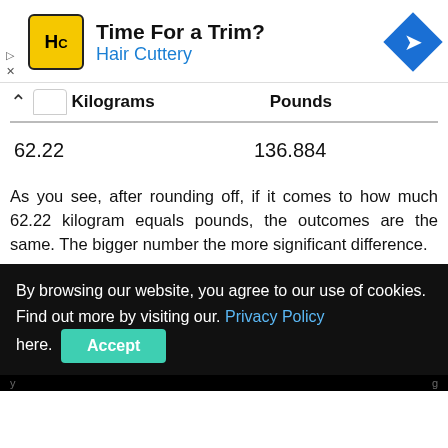[Figure (infographic): Hair Cuttery advertisement banner with yellow square logo showing HC initials, title 'Time For a Trim?', subtitle 'Hair Cuttery', and a blue diamond navigation icon on the right.]
| Kilograms | Pounds |
| --- | --- |
| 62.22 | 136.884 |
As you see, after rounding off, if it comes to how much 62.22 kilogram equals pounds, the outcomes are the same. The bigger number the more significant difference.
By browsing our website, you agree to our use of cookies. Find out more by visiting our. Privacy Policy here. Accept